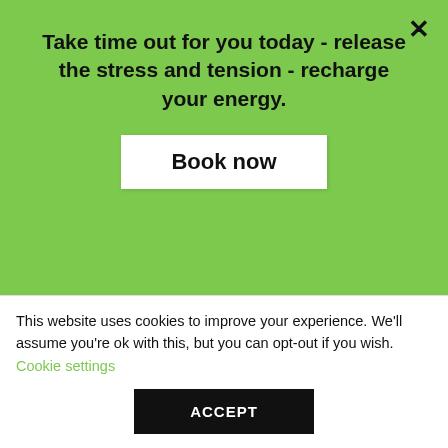Take time out for you today - release the stress and tension - recharge your energy.
Book now
needs, needs that we weren't even consciously aware of. Today I worked with my breath, I harmonised my SEL6 , and I found increased balance and harmony – even maybe a bit of that perfect rhythm with Jin Shin Jyutsu.
T...
This website uses cookies to improve your experience. We'll assume you're ok with this, but you can opt-out if you wish. Cookie settings
ACCEPT